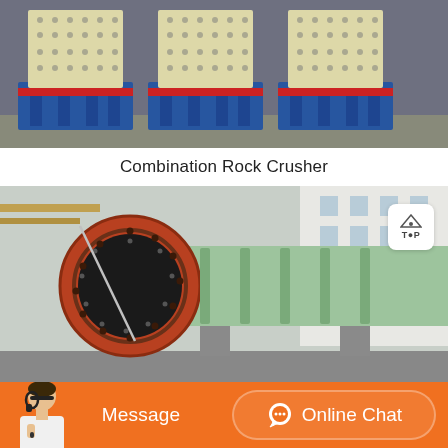[Figure (photo): Industrial combination rock crushers with blue base and beige/cream upper body with red accents, parked on a lot]
Combination Rock Crusher
[Figure (photo): Large industrial ball mill with red and light green cylindrical body, shown from the front end opening, at an industrial facility]
Message
Online Chat